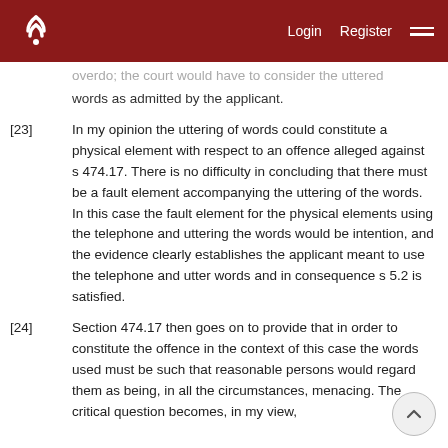Login  Register
...overdo; the court would have to consider the uttered words as admitted by the applicant.
[23]  In my opinion the uttering of words could constitute a physical element with respect to an offence alleged against s 474.17. There is no difficulty in concluding that there must be a fault element accompanying the uttering of the words. In this case the fault element for the physical elements using the telephone and uttering the words would be intention, and the evidence clearly establishes the applicant meant to use the telephone and utter words and in consequence s 5.2 is satisfied.
[24]  Section 474.17 then goes on to provide that in order to constitute the offence in the context of this case the words used must be such that reasonable persons would regard them as being, in all the circumstances, menacing. The critical question becomes, in my view,